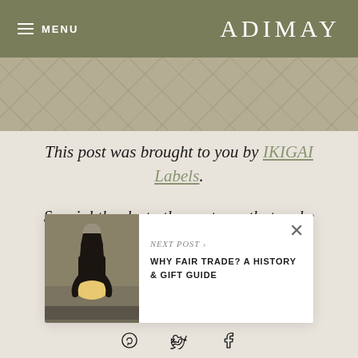MENU   ADIMAY
[Figure (photo): Stone tile floor texture at top of page]
This post was brought to you by IKIGAI Labels.
Special thanks to the partners that make ADIMAY possible.
[Figure (photo): Popup card showing woman in dark outfit holding net bag of fruit. Caption reads NEXT POST > WHY FAIR TRADE? A HISTORY & GIFT GUIDE]